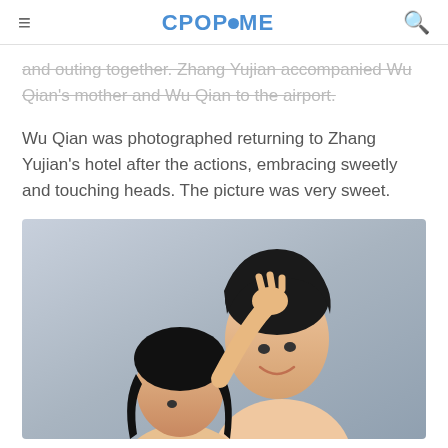CPOPHOME
and outing together. Zhang Yujian accompanied Wu Qian's mother and Wu Qian to the airport.
Wu Qian was photographed returning to Zhang Yujian's hotel after the actions, embracing sweetly and touching heads. The picture was very sweet.
[Figure (photo): A couple posing together — a woman reaching up to touch a man's head, both smiling and leaning close together against a light blue-grey background.]